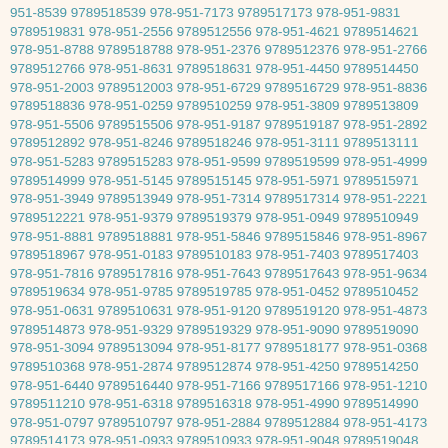951-8539 9789518539 978-951-7173 9789517173 978-951-9831 9789519831 978-951-2556 9789512556 978-951-4621 9789514621 978-951-8788 9789518788 978-951-2376 9789512376 978-951-2766 9789512766 978-951-8631 9789518631 978-951-4450 9789514450 978-951-2003 9789512003 978-951-6729 9789516729 978-951-8836 9789518836 978-951-0259 9789510259 978-951-3809 9789513809 978-951-5506 9789515506 978-951-9187 9789519187 978-951-2892 9789512892 978-951-8246 9789518246 978-951-3111 9789513111 978-951-5283 9789515283 978-951-9599 9789519599 978-951-4999 9789514999 978-951-5145 9789515145 978-951-5971 9789515971 978-951-3949 9789513949 978-951-7314 9789517314 978-951-2221 9789512221 978-951-9379 9789519379 978-951-0949 9789510949 978-951-8881 9789518881 978-951-5846 9789515846 978-951-8967 9789518967 978-951-0183 9789510183 978-951-7403 9789517403 978-951-7816 9789517816 978-951-7643 9789517643 978-951-9634 9789519634 978-951-9785 9789519785 978-951-0452 9789510452 978-951-0631 9789510631 978-951-9120 9789519120 978-951-4873 9789514873 978-951-9329 9789519329 978-951-9090 9789519090 978-951-3094 9789513094 978-951-8177 9789518177 978-951-0368 9789510368 978-951-2874 9789512874 978-951-4250 9789514250 978-951-6440 9789516440 978-951-7166 9789517166 978-951-1210 9789511210 978-951-6318 9789516318 978-951-4990 9789514990 978-951-0797 9789510797 978-951-2884 9789512884 978-951-4173 9789514173 978-951-0933 9789510933 978-951-9048 9789519048 978-951-5720 9789515720 978-951-1687 9789511687 978-951-9701 9789519701 978-951-2484 9789512484 978-951-9533 9789519533 978-951-1922 9789511922 978-951-5885 9789515885 978-951-8952